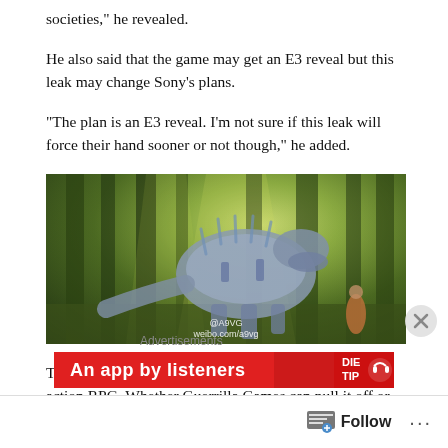societies,” he revealed.
He also said that the game may get an E3 reveal but this leak may change Sony’s plans.
“The plan is an E3 reveal. I’m not sure if this leak will force their hand sooner or not though,” he added.
[Figure (photo): Game screenshot or concept art showing a large robotic/mechanical dinosaur creature in a lush green forest environment. Watermark text reads @A9VG and weibo.com/a9vg.]
The game sounds really promising and is said to be an action RPG. Whether Guerrilla Games can pull it off or not remains to be seen. Take this as a rumor for now but Shinobi is usually very trustworthy.
Advertisements
[Figure (screenshot): Red advertisement banner with white bold text reading 'An app by listeners' with a Die/Trip logo image on the right side.]
Follow